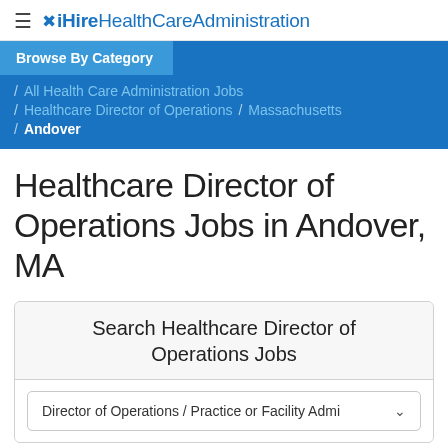≡ ✕ iHire HealthCareAdministration
Browse By Category
/ All Health Care Administration Jobs
/ Healthcare Director of Operations / Massachusetts
/ Andover
Healthcare Director of Operations Jobs in Andover, MA
Search Healthcare Director of Operations Jobs
Director of Operations / Practice or Facility Admi ∨